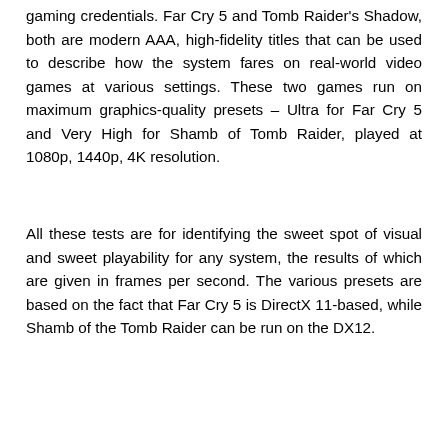gaming credentials. Far Cry 5 and Tomb Raider's Shadow, both are modern AAA, high-fidelity titles that can be used to describe how the system fares on real-world video games at various settings. These two games run on maximum graphics-quality presets – Ultra for Far Cry 5 and Very High for Shamb of Tomb Raider, played at 1080p, 1440p, 4K resolution.
All these tests are for identifying the sweet spot of visual and sweet playability for any system, the results of which are given in frames per second. The various presets are based on the fact that Far Cry 5 is DirectX 11-based, while Shamb of the Tomb Raider can be run on the DX12.